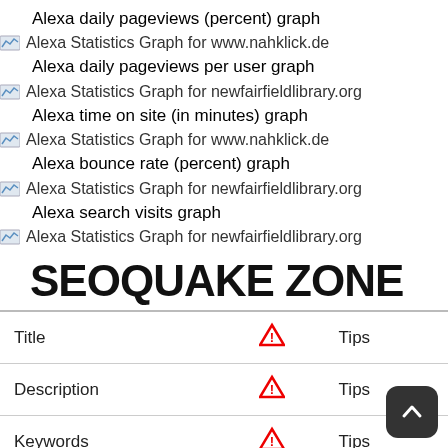Alexa daily pageviews (percent) graph
[Figure (screenshot): Alexa Statistics Graph for www.nahklick.de]
Alexa daily pageviews per user graph
[Figure (screenshot): Alexa Statistics Graph for newfairfieldlibrary.org]
Alexa time on site (in minutes) graph
[Figure (screenshot): Alexa Statistics Graph for www.nahklick.de]
Alexa bounce rate (percent) graph
[Figure (screenshot): Alexa Statistics Graph for newfairfieldlibrary.org]
Alexa search visits graph
[Figure (screenshot): Alexa Statistics Graph for newfairfieldlibrary.org]
SEOQUAKE ZONE
| Title |  | Tips |
| --- | --- | --- |
| Description |  | Tips |
| Keywords |  | Tips |
| Viewport |  | Tips |
[Figure (illustration): Scroll up button]